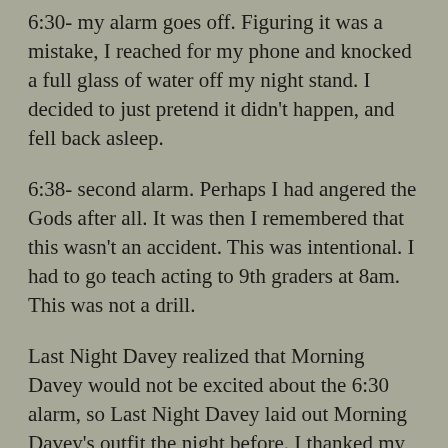6:30- my alarm goes off. Figuring it was a mistake, I reached for my phone and knocked a full glass of water off my night stand. I decided to just pretend it didn't happen, and fell back asleep.
6:38- second alarm. Perhaps I had angered the Gods after all. It was then I remembered that this wasn't an accident. This was intentional. I had to go teach acting to 9th graders at 8am. This was not a drill.
Last Night Davey realized that Morning Davey would not be excited about the 6:30 alarm, so Last Night Davey laid out Morning Davey's outfit the night before. I thanked my Past Self and used my last minutes of